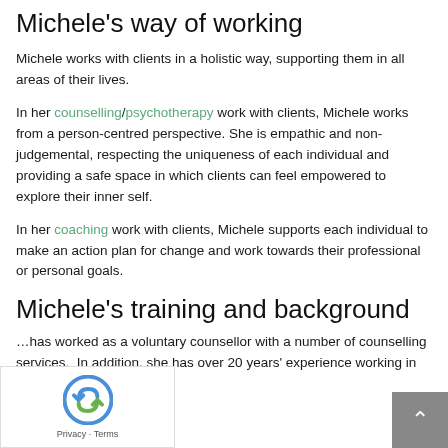Michele's way of working
Michele works with clients in a holistic way, supporting them in all areas of their lives.
In her counselling/psychotherapy work with clients, Michele works from a person-centred perspective. She is empathic and non-judgemental, respecting the uniqueness of each individual and providing a safe space in which clients can feel empowered to explore their inner self.
In her coaching work with clients, Michele supports each individual to make an action plan for change and work towards their professional or personal goals.
Michele's training and background
…has worked as a voluntary counsellor with a number of counselling services. In addition, she has over 20 years' experience working in people facing roles.